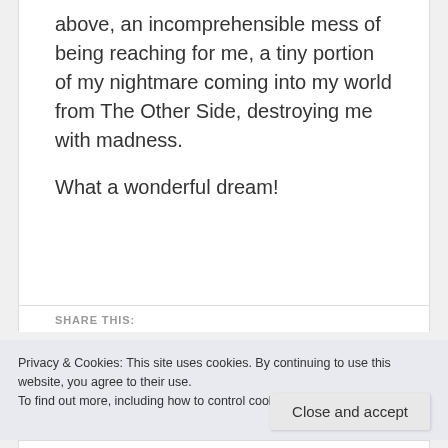above, an incomprehensible mess of being reaching for me, a tiny portion of my nightmare coming into my world from The Other Side, destroying me with madness.

What a wonderful dream!
SHARE THIS:
Privacy & Cookies: This site uses cookies. By continuing to use this website, you agree to their use.
To find out more, including how to control cookies, see here: Cookie Policy